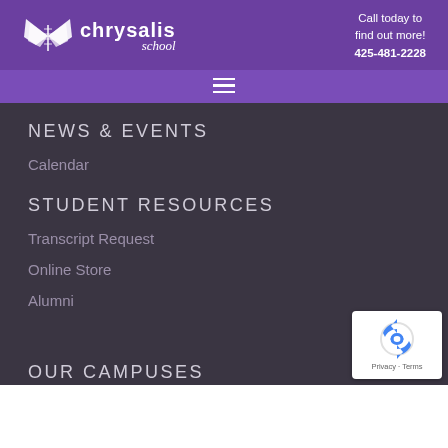chrysalis school — Call today to find out more! 425-481-2228
NEWS & EVENTS
Calendar
STUDENT RESOURCES
Transcript Request
Online Store
Alumni
OUR CAMPUSES
[Figure (logo): reCAPTCHA badge with recycling arrows logo and Privacy - Terms text]